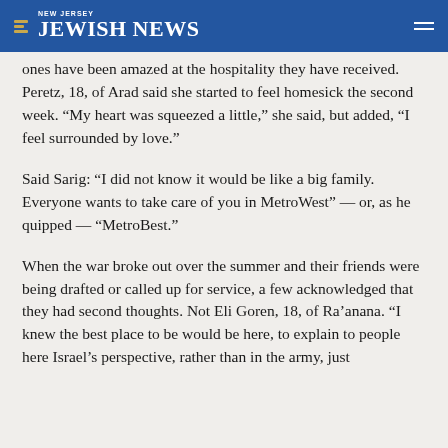NEW JERSEY JEWISH NEWS
ones have been amazed at the hospitality they have received. Peretz, 18, of Arad said she started to feel homesick the second week. “My heart was squeezed a little,” she said, but added, “I feel surrounded by love.”
Said Sarig: “I did not know it would be like a big family. Everyone wants to take care of you in MetroWest” — or, as he quipped — “MetroBest.”
When the war broke out over the summer and their friends were being drafted or called up for service, a few acknowledged that they had second thoughts. Not Eli Goren, 18, of Ra’anana. “I knew the best place to be would be here, to explain to people here Israel’s perspective, rather than in the army, just